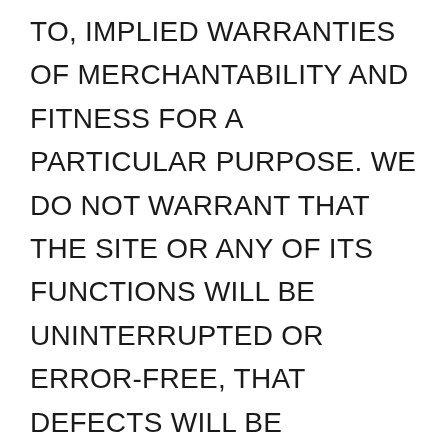TO, IMPLIED WARRANTIES OF MERCHANTABILITY AND FITNESS FOR A PARTICULAR PURPOSE. WE DO NOT WARRANT THAT THE SITE OR ANY OF ITS FUNCTIONS WILL BE UNINTERRUPTED OR ERROR-FREE, THAT DEFECTS WILL BE CORRECTED, OR THAT ANY PART OF THIS SITE, INCLUDING BULLETIN BOARDS, OR THE SERVERS THAT MAKE IT AVAILABLE, ARE FREE OF VIRUSES OR OTHER HARMFUL COMPONENTS. WE DO NOT WARRANT OR MAKE ANY